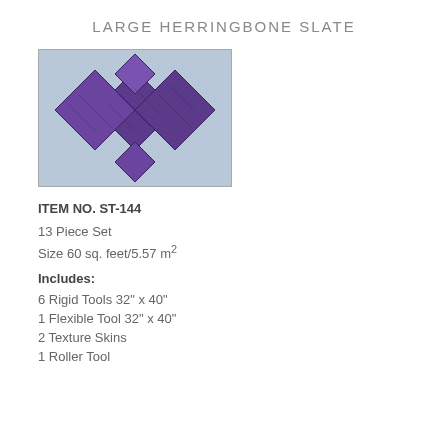LARGE HERRINGBONE SLATE
[Figure (photo): Product photo showing large herringbone slate pattern pieces arranged in a decorative layout on a light blue background. Slate pieces are purple/dark violet colored and arranged in a herringbone diamond pattern.]
ITEM NO. ST-144
13 Piece Set
Size 60 sq. feet/5.57 m²
Includes:
6 Rigid Tools 32" x 40"
1 Flexible Tool 32" x 40"
2 Texture Skins
1 Roller Tool